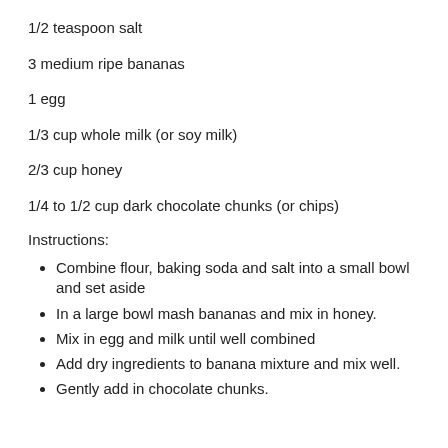1/2 teaspoon salt
3 medium ripe bananas
1 egg
1/3 cup whole milk (or soy milk)
2/3 cup honey
1/4 to 1/2 cup dark chocolate chunks (or chips)
Instructions:
Combine flour, baking soda and salt into a small bowl and set aside
In a large bowl mash bananas and mix in honey.
Mix in egg and milk until well combined
Add dry ingredients to banana mixture and mix well.
Gently add in chocolate chunks.